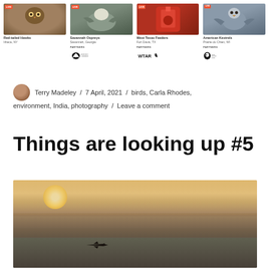[Figure (screenshot): Grid of four bird webcam thumbnails: Red-tailed Hawks (Ithaca, NY), Savannah Ospreys (Savannah, Georgia, partner: Skidaway Audubon), West Texas Feeders (Fort Davis, TX, partner: WTAR), American Kestrels (Prairie du Chien, WI, partner: Raptor Resource Project). Each has a LIVE badge.]
Terry Madeley / 7 April, 2021 / birds, Carla Rhodes, environment, India, photography / Leave a comment
Things are looking up #5
[Figure (photo): Aerial landscape photo at sunset/sunrise showing a flat horizon with a small aircraft silhouette in the foreground below a hazy, golden sky.]